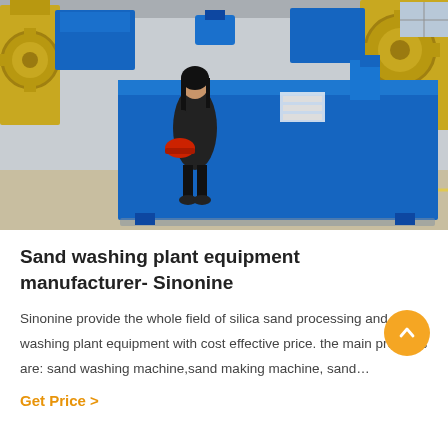[Figure (photo): Industrial sand washing plant equipment in a factory warehouse. A large blue metal machine/tank dominates the center. A woman in black clothing holding a red hard hat stands to the left. Large yellow industrial machinery with gears visible in the background.]
Sand washing plant equipment manufacturer- Sinonine
Sinonine provide the whole field of silica sand processing and sand washing plant equipment with cost effective price. the main products are: sand washing machine,sand making machine, sand…
Get Price  >